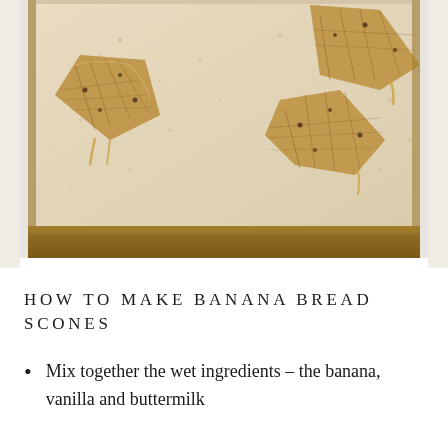[Figure (photo): Overhead photo of banana bread scones on parchment paper on a baking sheet, showing golden-brown rustic triangular scones with a textured crumbly top, on a light parchment background with a dark brown baking tray edge visible at the bottom.]
HOW TO MAKE BANANA BREAD SCONES
Mix together the wet ingredients – the banana, vanilla and buttermilk